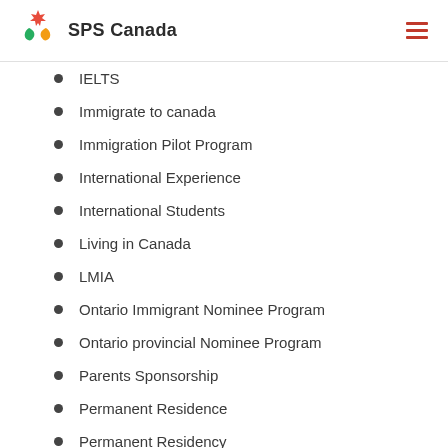SPS Canada
IELTS
Immigrate to canada
Immigration Pilot Program
International Experience
International Students
Living in Canada
LMIA
Ontario Immigrant Nominee Program
Ontario provincial Nominee Program
Parents Sponsorship
Permanent Residence
Permanent Residency
Provincial Nominee Program (PNP)
Rural and Northern Immigration Pilot